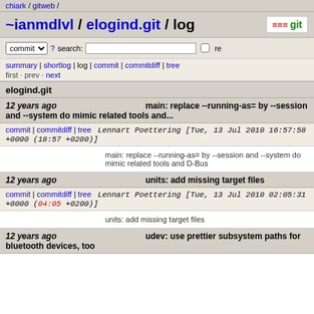chiark / gitweb /
~ianmdlvl / elogind.git / log
commit search: re
summary | shortlog | log | commit | commitdiff | tree
first · prev · next
elogind.git
12 years ago    main: replace --running-as= by --session and --system do mimic related tools and...
commit | commitdiff | tree    Lennart Poettering [Tue, 13 Jul 2010 16:57:58 +0000 (18:57 +0200)]
main: replace --running-as= by --session and --system do mimic related tools and D-Bus
12 years ago    units: add missing target files
commit | commitdiff | tree    Lennart Poettering [Tue, 13 Jul 2010 02:05:31 +0000 (04:05 +0200)]
units: add missing target files
12 years ago    udev: use prettier subsystem paths for bluetooth devices, too